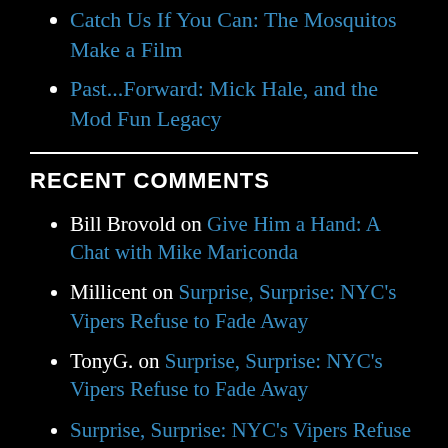Catch Us If You Can: The Mosquitos Make a Film
Past...Forward: Mick Hale, and the Mod Fun Legacy
RECENT COMMENTS
Bill Brovold on Give Him a Hand: A Chat with Mike Mariconda
Millicent on Surprise, Surprise: NYC's Vipers Refuse to Fade Away
TonyG. on Surprise, Surprise: NYC's Vipers Refuse to Fade Away
Surprise, Surprise: NYC's Vipers Refuse to